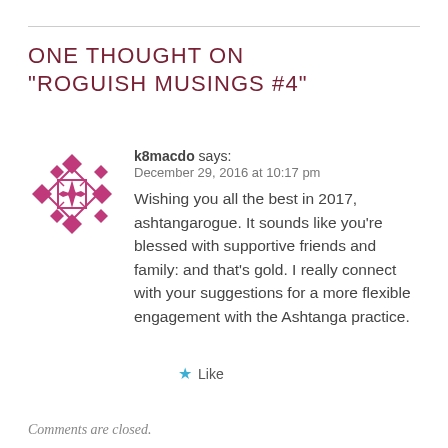ONE THOUGHT ON “ROGUISH MUSINGS #4”
[Figure (illustration): Decorative geometric avatar icon with pink/magenta diamond and star pattern on white background]
k8macdo says:
December 29, 2016 at 10:17 pm
Wishing you all the best in 2017, ashtangarogue. It sounds like you’re blessed with supportive friends and family: and that’s gold. I really connect with your suggestions for a more flexible engagement with the Ashtanga practice.
★ Like
Comments are closed.